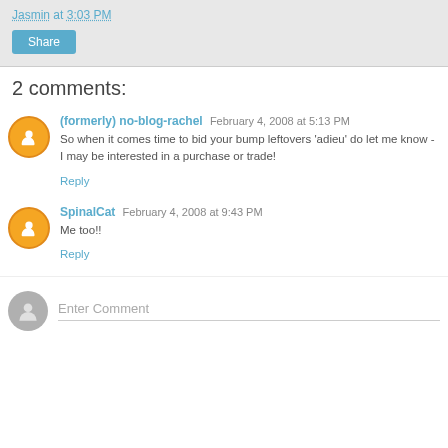Jasmin at 3:03 PM
Share
2 comments:
(formerly) no-blog-rachel  February 4, 2008 at 5:13 PM
So when it comes time to bid your bump leftovers 'adieu' do let me know - I may be interested in a purchase or trade!
Reply
SpinalCat  February 4, 2008 at 9:43 PM
Me too!!
Reply
Enter Comment